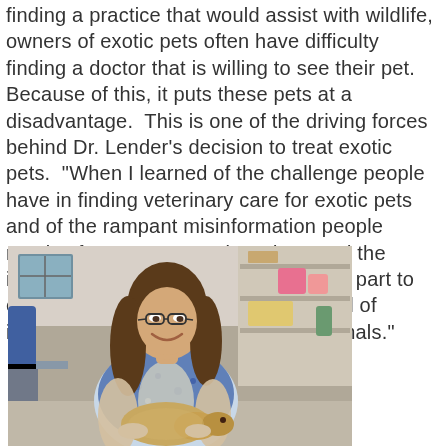finding a practice that would assist with wildlife, owners of exotic pets often have difficulty finding a doctor that is willing to see their pet.  Because of this, it puts these pets at a disadvantage.  This is one of the driving forces behind Dr. Lender's decision to treat exotic pets.  "When I learned of the challenge people have in finding veterinary care for exotic pets and of the rampant misinformation people receive from pet stores, breeders, and the internet, I felt a responsibility to do my part to educate and assist them, with the goal of improving the quality of life of the animals."
[Figure (photo): A smiling woman with long brown hair and glasses holding a bearded dragon lizard in what appears to be a veterinary clinic or similar indoor setting. She is wearing a blue floral top over a light-colored shirt. The background shows shelving, supplies, and a window.]